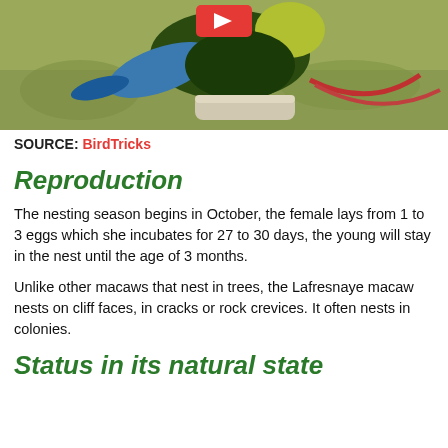[Figure (photo): A macaw parrot perched on a surface outdoors, with colorful green, blue and yellow feathers visible. A red YouTube play button overlay is visible at the top center.]
SOURCE: BirdTricks
Reproduction
The nesting season begins in October, the female lays from 1 to 3 eggs which she incubates for 27 to 30 days, the young will stay in the nest until the age of 3 months.
Unlike other macaws that nest in trees, the Lafresnaye macaw nests on cliff faces, in cracks or rock crevices. It often nests in colonies.
Status in its natural state